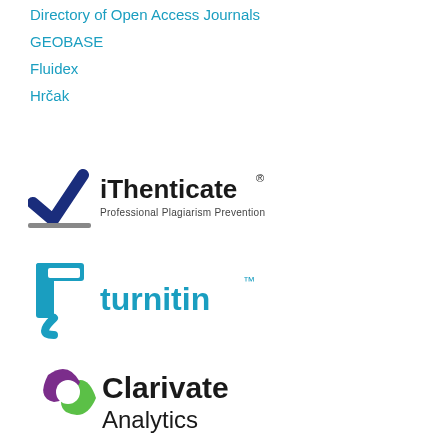Directory of Open Access Journals
GEOBASE
Fluidex
Hrčak
[Figure (logo): iThenticate logo — a dark blue checkmark icon on the left, followed by 'iThenticate®' in bold black text, and 'Professional Plagiarism Prevention' in smaller grey text below.]
[Figure (logo): Turnitin logo — a blue stylized arrow/bracket icon on the left, followed by 'turnitin' in bold teal text with a superscript TM mark.]
[Figure (logo): Clarivate Analytics logo — a rounded geometric icon in purple and green on the left, followed by 'Clarivate' in bold black large text and 'Analytics' on the second line in smaller black text.]